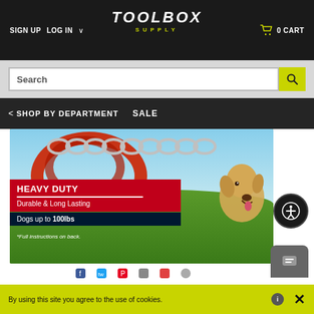SIGN UP  LOG IN  TOOLBOX SUPPLY  0 CART
[Figure (screenshot): Search bar with magnifying glass icon on yellow-green background]
[Figure (screenshot): Navigation bar with SHOP BY DEPARTMENT and SALE links]
[Figure (photo): Product banner showing a heavy-duty dog tie-out cable with a golden retriever. Red banner text: HEAVY DUTY, Durable & Long Lasting, Dogs up to 100lbs, *Full instructions on back.]
By using this site you agree to the use of cookies.